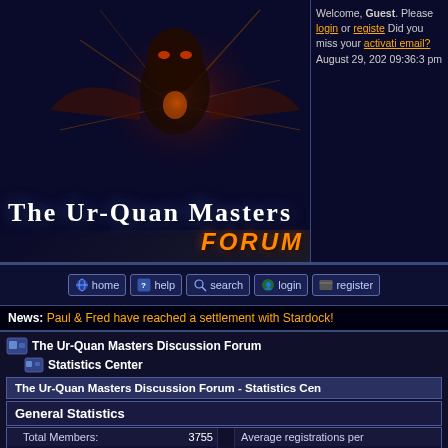[Figure (screenshot): The Ur-Quan Masters forum banner with alien figure graphic and orange FORUM text]
Welcome, Guest. Please login or register. Did you miss your activation email? August 29, 2025 09:36:3 pm
[Figure (other): Navigation bar with home, help, search, login, register buttons]
News: Paul & Fred have reached a settlement with Stardock!
The Ur-Quan Masters Discussion Forum
Statistics Center
The Ur-Quan Masters Discussion Forum - Statistics Center
General Statistics
|  |  |  |  |
| --- | --- | --- | --- |
| Total Members: | 3755 |  | Average registrations per |
| Total Posts: | 76974 |  | Average posts per day: |
| Total Topics: | 5446 |  | Average topics per day: |
| Total Categories: | 1 |  | Total Boards: |
| Users Online: | 12 |  | Latest Member: |